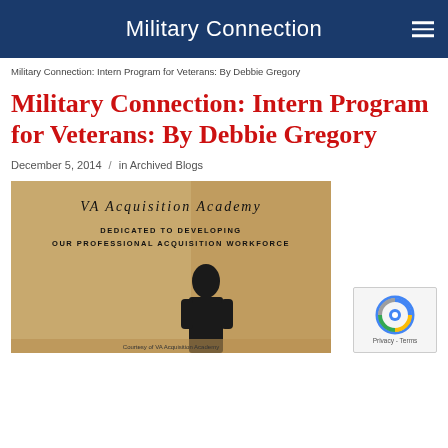Military Connection
Military Connection: Intern Program for Veterans: By Debbie Gregory
Military Connection: Intern Program for Veterans: By Debbie Gregory
December 5, 2014 / in Archived Blogs
[Figure (photo): Woman standing in front of a VA Acquisition Academy sign that reads 'Dedicated to Developing Our Professional Acquisition Workforce']